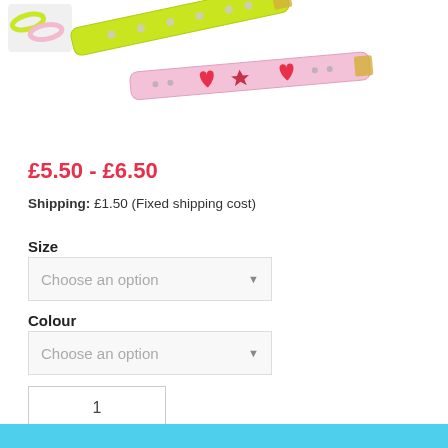[Figure (photo): Two colorful pet collar bracelets — one lime green with star rhinestone decorations and one pink with heart and star decorations — overlapping each other. A thumbnail of the collars appears in the top-left corner.]
£5.50 - £6.50
Shipping: £1.50 (Fixed shipping cost)
Size
Choose an option
Colour
Choose an option
1
Add To Cart